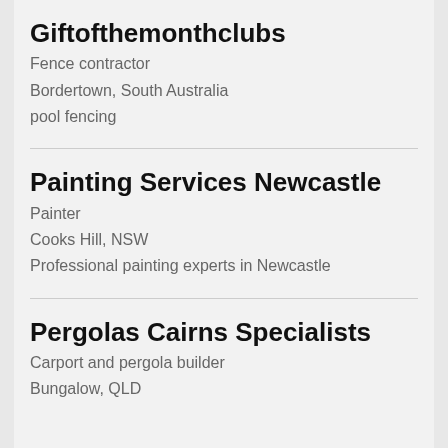Giftofthemonthclubs
Fence contractor
Bordertown, South Australia
pool fencing
Painting Services Newcastle
Painter
Cooks Hill, NSW
Professional painting experts in Newcastle
Pergolas Cairns Specialists
Carport and pergola builder
Bungalow, QLD